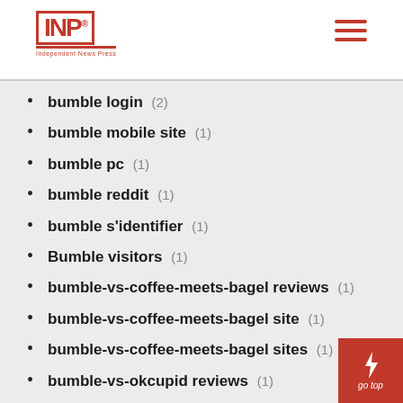INP logo with hamburger menu
bumble login (2)
bumble mobile site (1)
bumble pc (1)
bumble reddit (1)
bumble s'identifier (1)
Bumble visitors (1)
bumble-vs-coffee-meets-bagel reviews (1)
bumble-vs-coffee-meets-bagel site (1)
bumble-vs-coffee-meets-bagel sites (1)
bumble-vs-okcupid reviews (1)
bumble-vs-okcupid services (1)